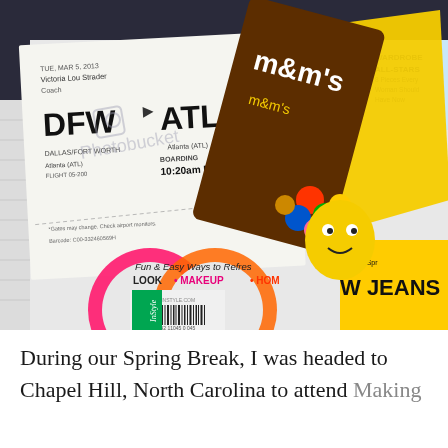[Figure (photo): A photograph showing a boarding pass for flight DFW to ATL (Dallas to Atlanta) for Victoria Lou Strader, with boarding time 10:20am gate E15, alongside an InStyle magazine (April 2013) showing 'Fun & Easy Ways to Refresh LOOK • MAKEUP • HOME' and 'W JEANS', and an M&M's candy package, all resting on a white knit sweater or blanket.]
During our Spring Break, I was headed to Chapel Hill, North Carolina to attend Making